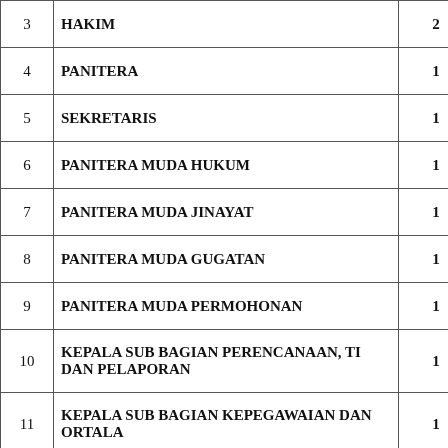| No | Jabatan | Jumlah |
| --- | --- | --- |
| 3 | HAKIM | 2 |
| 4 | PANITERA | 1 |
| 5 | SEKRETARIS | 1 |
| 6 | PANITERA MUDA HUKUM | 1 |
| 7 | PANITERA MUDA JINAYAT | 1 |
| 8 | PANITERA MUDA GUGATAN | 1 |
| 9 | PANITERA MUDA PERMOHONAN | 1 |
| 10 | KEPALA SUB BAGIAN PERENCANAAN, TI DAN PELAPORAN | 1 |
| 11 | KEPALA SUB BAGIAN KEPEGAWAIAN DAN ORTALA | 1 |
| 12 | KEPALA SUB BAGIAN UMUM DAN KEUANGAN | 1 |
| 13 | PANITERA PENGGANTI | - |